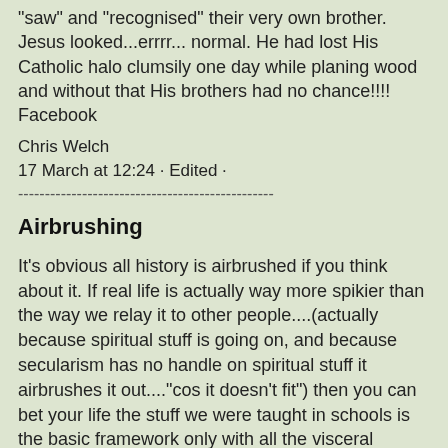"saw" and "recognised" their very own brother. Jesus looked...errrr... normal. He had lost His Catholic halo clumsily one day while planing wood and without that His brothers had no chance!!!!
Facebook
Chris Welch
17 March at 12:24 · Edited ·
------------------------------------------------
Airbrushing
It's obvious all history is airbrushed if you think about it. If real life is actually way more spikier than the way we relay it to other people....(actually because spiritual stuff is going on, and because secularism has no handle on spiritual stuff it airbrushes it out...."cos it doesn't fit") then you can bet your life the stuff we were taught in schools is the basic framework only with all the visceral lifeblood sucked out of it. 100s of years on, the religious wars look like wars of ideas only. Those were wars over lies and truth. Lies that you